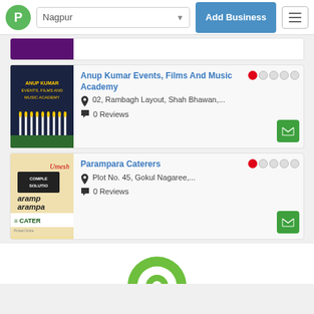Nagpur | Add Business
[Figure (screenshot): Partial listing card with purple image, top of page]
Anup Kumar Events, Films And Music Academy
02, Rambagh Layout, Shah Bhawan,...
0 Reviews
Parampara Caterers
Plot No. 45, Gokul Nagaree,...
0 Reviews
[Figure (logo): PickerOnline green logo partial at bottom]